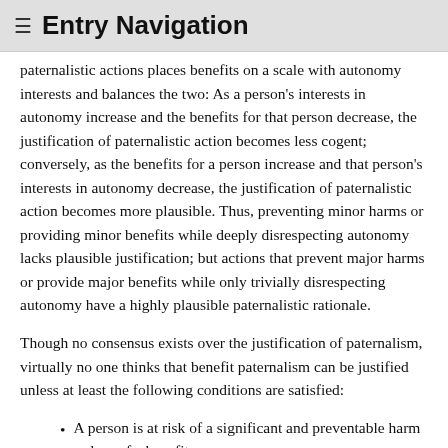≡  Entry Navigation
paternalistic actions places benefits on a scale with autonomy interests and balances the two: As a person's interests in autonomy increase and the benefits for that person decrease, the justification of paternalistic action becomes less cogent; conversely, as the benefits for a person increase and that person's interests in autonomy decrease, the justification of paternalistic action becomes more plausible. Thus, preventing minor harms or providing minor benefits while deeply disrespecting autonomy lacks plausible justification; but actions that prevent major harms or provide major benefits while only trivially disrespecting autonomy have a highly plausible paternalistic rationale.
Though no consensus exists over the justification of paternalism, virtually no one thinks that benefit paternalism can be justified unless at least the following conditions are satisfied:
A person is at risk of a significant and preventable harm or loss of a benefit.